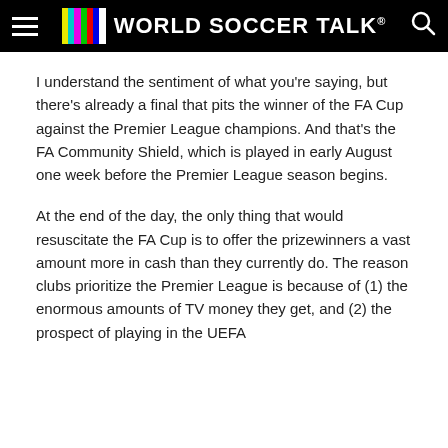World Soccer Talk
I understand the sentiment of what you're saying, but there's already a final that pits the winner of the FA Cup against the Premier League champions. And that's the FA Community Shield, which is played in early August one week before the Premier League season begins.
At the end of the day, the only thing that would resuscitate the FA Cup is to offer the prizewinners a vast amount more in cash than they currently do. The reason clubs prioritize the Premier League is because of (1) the enormous amounts of TV money they get, and (2) the prospect of playing in the UEFA